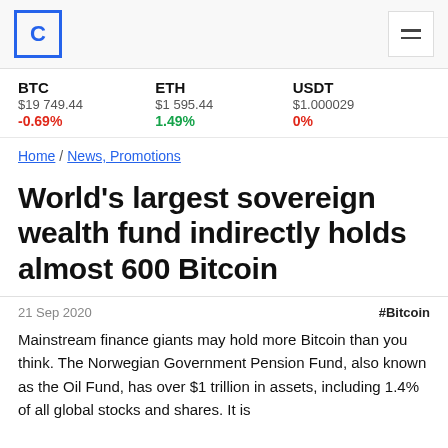Coindesk logo and navigation
BTC $19 749.44 -0.69% ETH $1 595.44 1.49% USDT $1.000029 0%
Home / News, Promotions
World's largest sovereign wealth fund indirectly holds almost 600 Bitcoin
21 Sep 2020  #Bitcoin
Mainstream finance giants may hold more Bitcoin than you think. The Norwegian Government Pension Fund, also known as the Oil Fund, has over $1 trillion in assets, including 1.4% of all global stocks and shares. It is